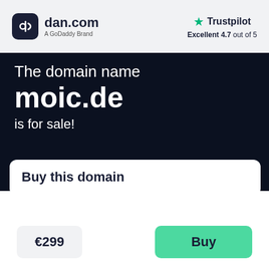[Figure (logo): dan.com logo — dark rounded square icon with stylized 'd' and 'dan.com' text, subtitle 'A GoDaddy Brand']
[Figure (logo): Trustpilot logo with green star, text 'Trustpilot', rating 'Excellent 4.7 out of 5']
The domain name
moic.de
is for sale!
Buy this domain
€299
Buy